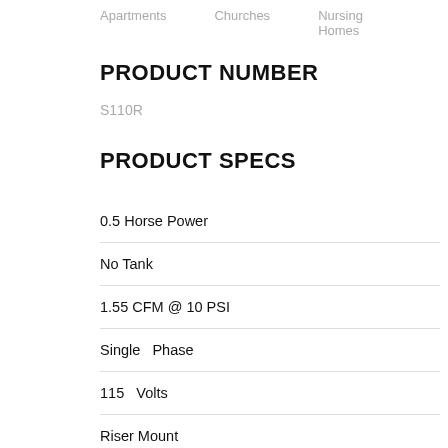Apartments   Churches   Nursing Homes
PRODUCT NUMBER
S110R
PRODUCT SPECS
0.5 Horse Power
No Tank
1.55 CFM @ 10 PSI
Single   Phase
115   Volts
Riser Mount